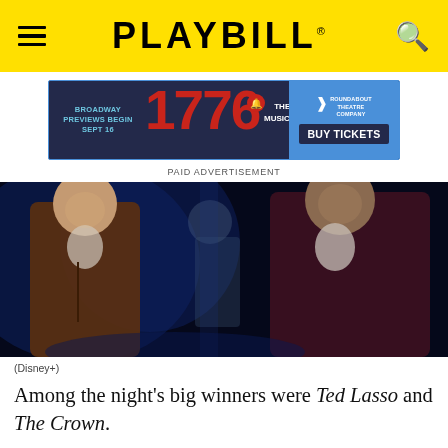PLAYBILL
[Figure (infographic): Advertisement banner for 1776 The Musical by Roundabout Theatre Company. Broadway Previews Begin Sept 16. Buy Tickets.]
PAID ADVERTISEMENT
[Figure (photo): Two men in 18th century colonial costumes on a dark stage, lit with blue light. A scene from Hamilton (Disney+).]
(Disney+)
Among the night's big winners were Ted Lasso and The Crown.